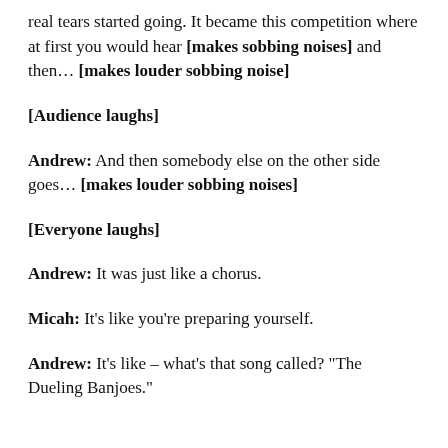real tears started going. It became this competition where at first you would hear [makes sobbing noises] and then… [makes louder sobbing noise]
[Audience laughs]
Andrew: And then somebody else on the other side goes… [makes louder sobbing noises]
[Everyone laughs]
Andrew: It was just like a chorus.
Micah: It's like you're preparing yourself.
Andrew: It's like – what's that song called? "The Dueling Banjoes."